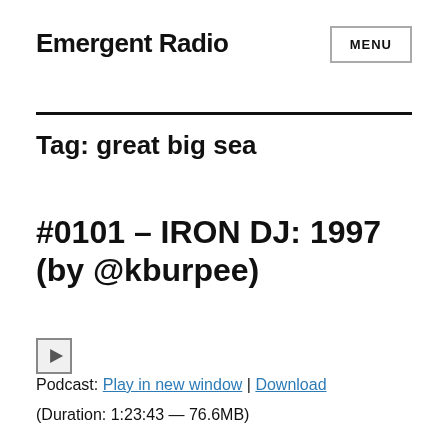Emergent Radio
MENU
Tag: great big sea
#0101 – IRON DJ: 1997 (by @kburpee)
Podcast: Play in new window | Download
(Duration: 1:23:43 — 76.6MB)